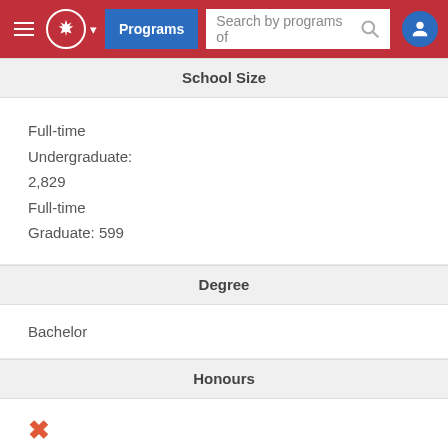Programs  Search by programs of
School Size
Full-time Undergraduate:
2,829
Full-time Graduate: 599
Degree
Bachelor
Honours
✗
Co-op